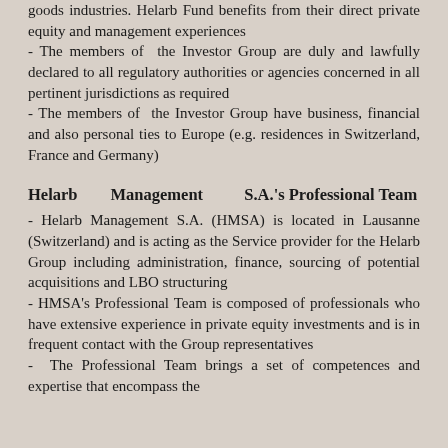goods industries. Helarb Fund benefits from their direct private equity and management experiences
- The members of the Investor Group are duly and lawfully declared to all regulatory authorities or agencies concerned in all pertinent jurisdictions as required
- The members of the Investor Group have business, financial and also personal ties to Europe (e.g. residences in Switzerland, France and Germany)
Helarb Management S.A.'s Professional Team
- Helarb Management S.A. (HMSA) is located in Lausanne (Switzerland) and is acting as the Service provider for the Helarb Group including administration, finance, sourcing of potential acquisitions and LBO structuring
- HMSA's Professional Team is composed of professionals who have extensive experience in private equity investments and is in frequent contact with the Group representatives
- The Professional Team brings a set of competences and expertise that encompass the